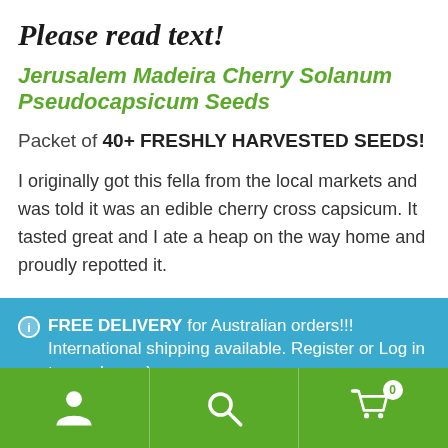Please read text!
Jerusalem Madeira Cherry Solanum Pseudocapsicum Seeds
Packet of 40+ FRESHLY HARVESTED SEEDS!
I originally got this fella from the local markets and was told it was an edible cherry cross capsicum. It tasted great and I ate a heap on the way home and proudly repotted it.
FREE DELIVERY for Australian orders!!! International shipping available. Register or Log in to purchase :)
Dismiss
[Figure (infographic): Green footer bar with three white icons: user/person icon, search/magnifying glass icon, and shopping cart icon with badge showing 0]